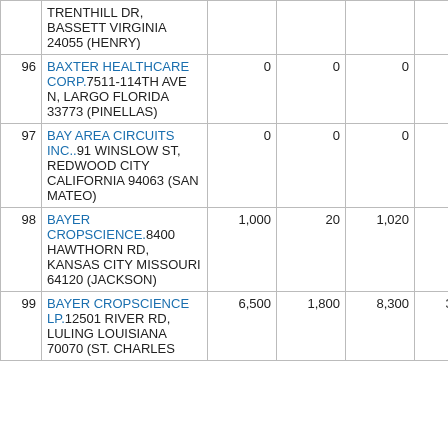| # | Name/Address | Col1 | Col2 | Col3 | Col4 |
| --- | --- | --- | --- | --- | --- |
|  | TRENTHILL DR, BASSETT VIRGINIA 24055 (HENRY) |  |  |  |  |
| 96 | BAXTER HEALTHCARE CORP.7511-114TH AVE N, LARGO FLORIDA 33773 (PINELLAS) | 0 | 0 | 0 | 0 |
| 97 | BAY AREA CIRCUITS INC..91 WINSLOW ST, REDWOOD CITY CALIFORNIA 94063 (SAN MATEO) | 0 | 0 | 0 | 0 |
| 98 | BAYER CROPSCIENCE.8400 HAWTHORN RD, KANSAS CITY MISSOURI 64120 (JACKSON) | 1,000 | 20 | 1,020 | 268 |
| 99 | BAYER CROPSCIENCE LP.12501 RIVER RD, LULING LOUISIANA 70070 (ST. CHARLES | 6,500 | 1,800 | 8,300 | 3,300 |